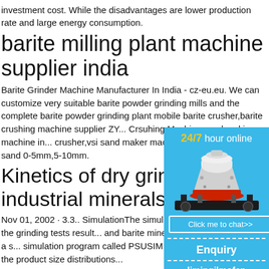investment cost. While the disadvantages are lower production rate and large energy consumption.
barite milling plant machine supplier india
Barite Grinder Machine Manufacturer In India - cz-eu.eu. We can customize very suitable barite powder grinding mills and the complete barite powder grinding plant mobile barite crusher,barite crushing machine supplier ZY... Crsuhing Machine sand making machine in... crusher,vsi sand maker machine,pcl sand m... maker sand 0-5mm,5-10mm.
Kinetics of dry grinding industrial minerals: calc...
Nov 01, 2002 · 3.3.. SimulationThe simulati... size distributions of the grinding tests result... and barite minerals were done by using a s... simulation program called PSUSIM (Austin... simulations of the product size distributions...
[Figure (infographic): Floating chat widget with blue background showing '24/7 hour online' in white and gold text, an image of a cone crusher machine, a 'Click me to chat>>' button, an 'Enquiry' label, and 'limingjlmofen' username. All on a sky-blue background.]